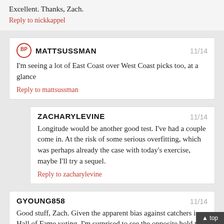Excellent. Thanks, Zach.
Reply to nickkappel
MATTSUSSMAN
11/14
I'm seeing a lot of East Coast over West Coast picks too, at a glance
Reply to mattsussman
ZACHARYLEVINE
11/14
Longitude would be another good test. I've had a couple come in. At the risk of some serious overfitting, which was perhaps already the case with today's exercise, maybe I'll try a sequel.
Reply to zacharylevine
GYOUNG858
11/14
Good stuff, Zach. Given the apparent bias against catchers in Hall of Fame voting, I'm surprised to see the opposite hold true in MVP voting.